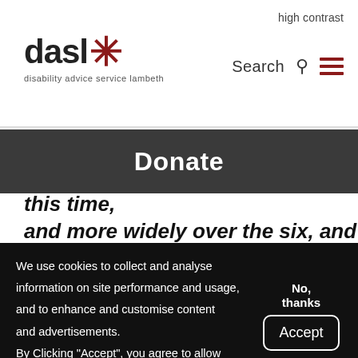high contrast
[Figure (logo): dasl* disability advice service lambeth logo]
Search
Donate
years. I have learnt so much in this time, and more widely over the six, and a
We use cookies to collect and analyse information on site performance and usage, and to enhance and customise content and advertisements. By Clicking "Accept", you agree to allow cookies to be placed. More info.
No, thanks
Accept